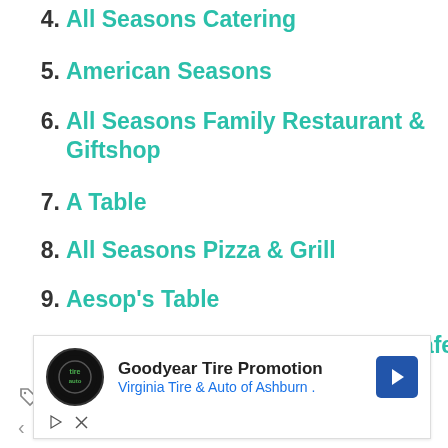4. All Seasons Catering
5. American Seasons
6. All Seasons Family Restaurant & Giftshop
7. A Table
8. All Seasons Pizza & Grill
9. Aesop's Table
10. At Sara's Table Chester Creek Cafe
Sushi, Thai
White castle
[Figure (screenshot): Advertisement banner for Goodyear Tire Promotion by Virginia Tire & Auto of Ashburn with logo, navigation arrow icon, and ad controls]